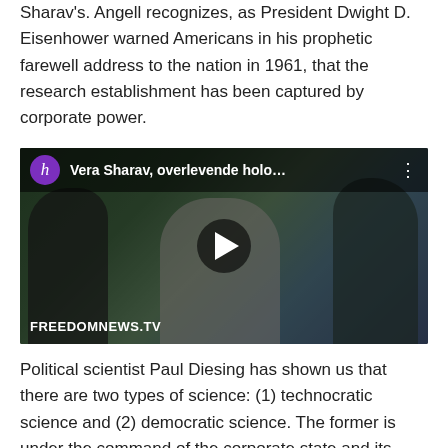Sharav's. Angell recognizes, as President Dwight D. Eisenhower warned Americans in his prophetic farewell address to the nation in 1961, that the research establishment has been captured by corporate power.
[Figure (screenshot): Video thumbnail showing a woman speaking at a microphone at an outdoor event. The video title reads 'Vera Sharav, overlevende holo…'. The channel avatar shows a purple circle with 'h'. A watermark reads 'FREEDOMNEWS.TV'.]
Political scientist Paul Diesing has shown us that there are two types of science: (1) technocratic science and (2) democratic science. The former is under the command of the corporate state and its administrative apparatus. The